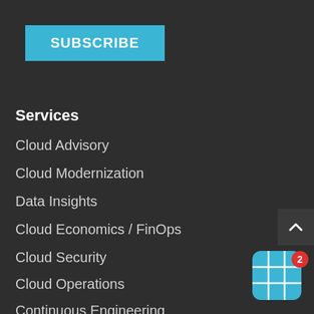[Figure (screenshot): Subscribe button — teal/cyan rectangular button with white bold text 'SUBSCRIBE']
Services
Cloud Advisory
Cloud Modernization
Data Insights
Cloud Economics / FinOps
Cloud Security
Cloud Operations
Continuous Engineering
Partners
[Figure (screenshot): Back-to-top button — dark grey square with upward caret arrow icon, positioned at right edge]
[Figure (screenshot): Chat widget icon — teal grid/puzzle piece app icon with red notification badge showing '2']